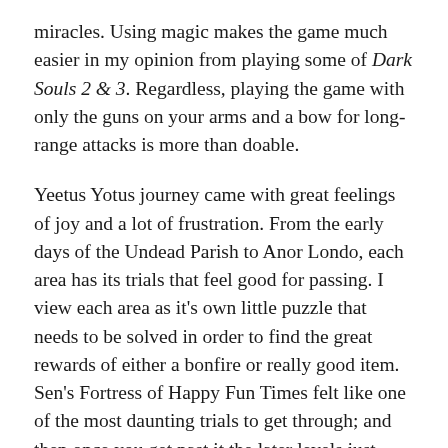miracles. Using magic makes the game much easier in my opinion from playing some of Dark Souls 2 & 3. Regardless, playing the game with only the guns on your arms and a bow for long-range attacks is more than doable.
Yeetus Yotus journey came with great feelings of joy and a lot of frustration. From the early days of the Undead Parish to Anor Londo, each area has its trials that feel good for passing. I view each area as it's own little puzzle that needs to be solved in order to find the great rewards of either a bonfire or really good item. Sen's Fortress of Happy Fun Times felt like one of the most daunting trials to get through; and then once you get past it the later levels just laugh in its face. I dread one day returning to Anor Londo have have to deal with scaling the roof while two Black Knights shoot their giant arrows at you. I wanted to give up in the Giant's Tomb since everything is so dark, but once I